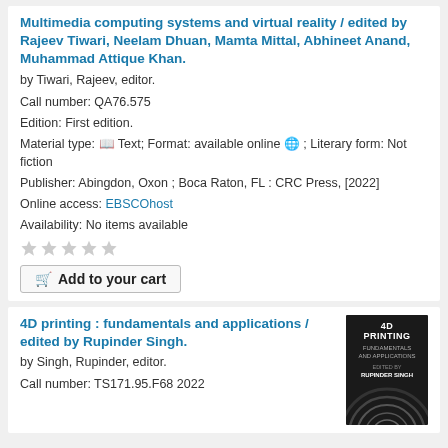Multimedia computing systems and virtual reality / edited by Rajeev Tiwari, Neelam Dhuan, Mamta Mittal, Abhineet Anand, Muhammad Attique Khan.
by Tiwari, Rajeev, editor.
Call number: QA76.575
Edition: First edition.
Material type: [book icon] Text; Format: available online [online icon] ; Literary form: Not fiction
Publisher: Abingdon, Oxon ; Boca Raton, FL : CRC Press, [2022]
Online access: EBSCOhost
Availability: No items available
[Figure (other): Five grey star rating icons (unselected/empty)]
Add to your cart
4D printing : fundamentals and applications / edited by Rupinder Singh.
by Singh, Rupinder, editor.
Call number: TS171.95.F68 2022
[Figure (photo): Book cover for '4D Printing: Fundamentals and Applications edited by Rupinder Singh' — black cover with concentric circular arc design in white/grey]